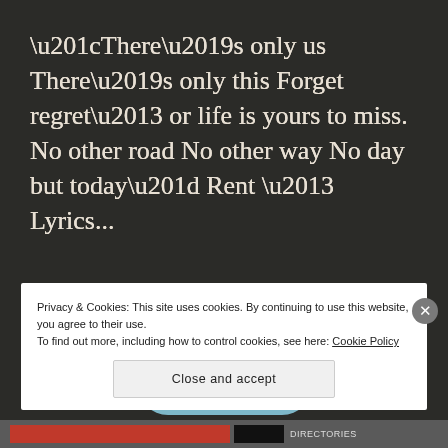“There’s only us There’s only this Forget regret– or life is yours to miss. No other road No other way No day but today” Rent – Lyrics...
[Figure (other): A rounded rectangular button with light blue background reading READ MORE with arrow]
Privacy & Cookies: This site uses cookies. By continuing to use this website, you agree to their use.
To find out more, including how to control cookies, see here: Cookie Policy
Close and accept